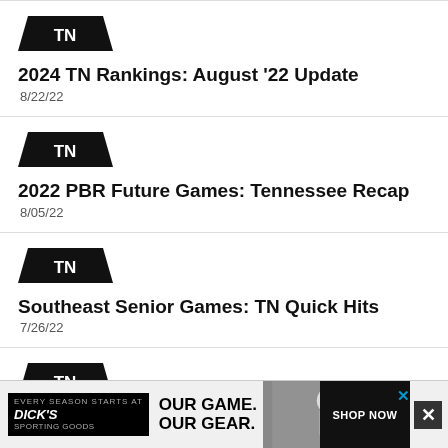[Figure (logo): TN state badge logo black parallelogram with white TN text]
2024 TN Rankings: August '22 Update
8/22/22
[Figure (logo): TN state badge logo black parallelogram with white TN text]
2022 PBR Future Games: Tennessee Recap
8/05/22
[Figure (logo): TN state badge logo black parallelogram with white TN text]
Southeast Senior Games: TN Quick Hits
7/26/22
[Figure (logo): TN state badge logo black parallelogram with white TN text]
East TN Open + Rising Stars: Quick Hits
7/20...
[Figure (advertisement): Dick's Sporting Goods ad - OUR GAME. OUR GEAR. SHOP NOW with baseball player photo]